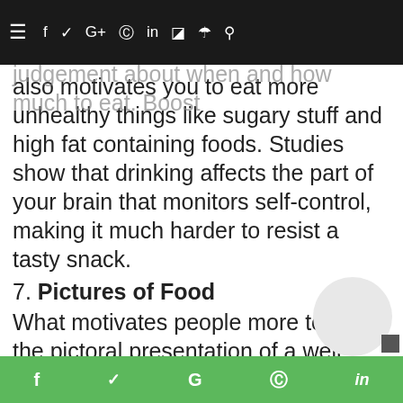Booze lowers your inhibitions, and that includes being judgement about when and how much to eat. Booze also motivates you to eat more unhealthy things like sugary stuff and high fat containing foods. Studies show that drinking affects the part of your brain that monitors self-control, making it much harder to resist a tasty snack.
7. Pictures of Food
What motivates people more to eat is the pictoral presentation of a well garnished meal or snack. Some people just view, and order even when they're not hungry.
The Cost of Mindless Eating
The cost of not being aware and intentional about your eating habits are weight gain and other chronic diseases. You should always be mindful of emotional eating at all times.
f  Twitter  G  Pinterest  in